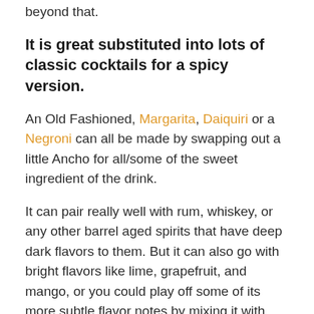beyond that.
It is great substituted into lots of classic cocktails for a spicy version.
An Old Fashioned, Margarita, Daiquiri or a Negroni can all be made by swapping out a little Ancho for all/some of the sweet ingredient of the drink.
It can pair really well with rum, whiskey, or any other barrel aged spirits that have deep dark flavors to them. But it can also go with bright flavors like lime, grapefruit, and mango, or you could play off some of its more subtle flavor notes by mixing it with chocolate, cinnamon, or cloves.